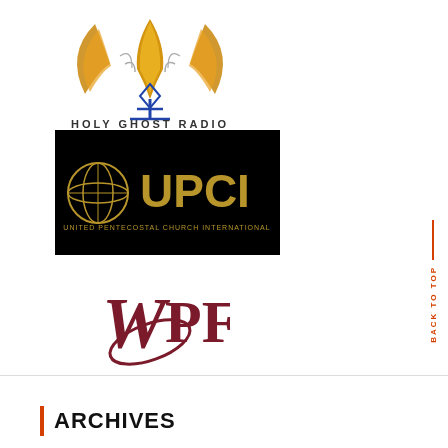[Figure (logo): Holy Ghost Radio logo with flame/antenna graphic and text 'HOLY GHOST RADIO' in spaced caps]
[Figure (logo): UPCI - United Pentecostal Church International logo on black background with gold globe and gold text 'UPCI']
[Figure (logo): WPF logo in dark red/maroon with stylized W and oval swoosh]
BACK TO TOP
ARCHIVES